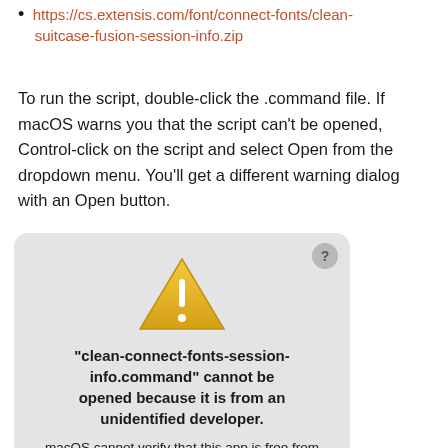https://cs.extensis.com/font/connect-fonts/clean-suitcase-fusion-session-info.zip
To run the script, double-click the .command file. If macOS warns you that the script can't be opened, Control-click on the script and select Open from the dropdown menu. You'll get a different warning dialog with an Open button.
[Figure (screenshot): macOS security warning dialog showing a warning triangle icon and message: "clean-connect-fonts-session-info.command" cannot be opened because it is from an unidentified developer. macOS cannot verify that this app is free from malware. Chrome downloaded this file today at 12:07 PM.]